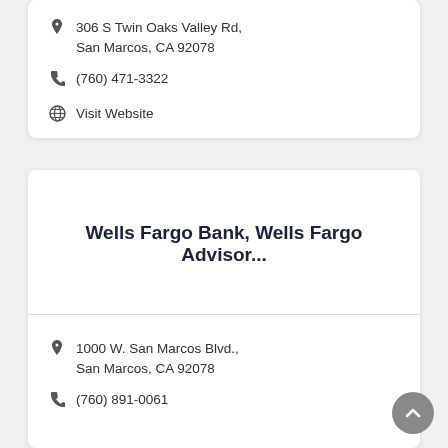306 S Twin Oaks Valley Rd, San Marcos, CA 92078
(760) 471-3322
Visit Website
Wells Fargo Bank, Wells Fargo Advisor...
1000 W. San Marcos Blvd., San Marcos, CA 92078
(760) 891-0061